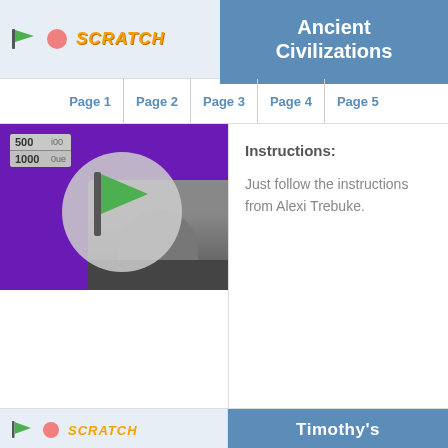Scratch | Ancient Civilizations
Page 1 | Page 2 | Page 3 | Page 4 | Page 5
[Figure (screenshot): Screenshot of a Scratch project showing a Jeopardy-style game with score panel (500, 1000), a green flag, a grey circle, and a game show host on a purple background.]
Instructions:
Just follow the instructions from Alexi Trebuke.
[Figure (screenshot): Partial screenshot at bottom showing Scratch interface icons (green flag, stop button, Scratch logo).]
Timothy's